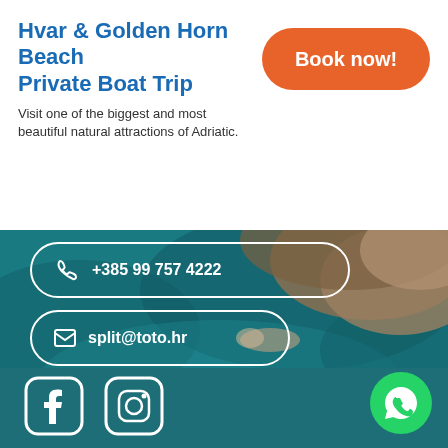Hvar & Golden Horn Beach Private Boat Trip
Visit one of the biggest and most beautiful natural attractions of Adriatic.
Book now!
[Figure (photo): Aerial view of a swimmer in teal Adriatic water near rocky shore, forming the background of a contact info section]
+385 99 757 4222
split@toto.hr
Trumbićeva obala 2, Split
[Figure (logo): Facebook icon - rounded square with stylized f]
[Figure (logo): Instagram icon - rounded square with camera outline]
[Figure (logo): WhatsApp icon - green circle with phone handset]